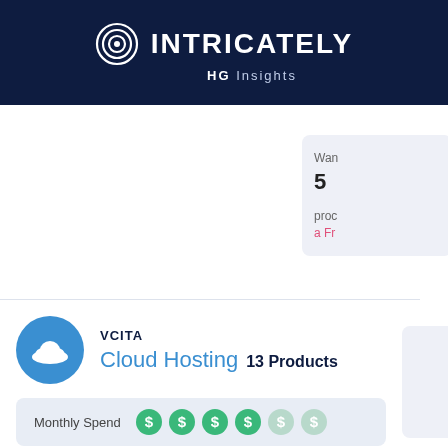INTRICATELY HG Insights
Wan 5 proc a Fr
VCITA
Cloud Hosting 13 Products
Monthly Spend